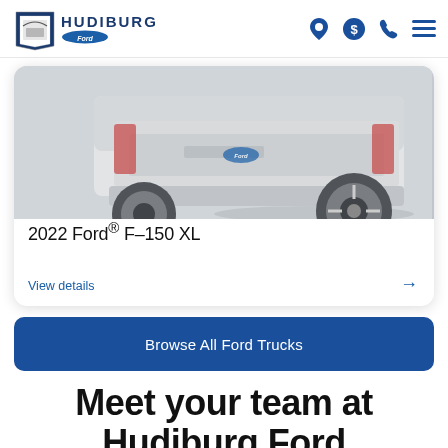Hudiburg Ford — navigation header with logo and icons
[Figure (photo): Partial rear view of a white/silver 2022 Ford F-150 XL truck showing wheel and rear bumper on a light gray background]
2022 Ford® F–150 XL
View details →
Browse All Ford Trucks
Meet your team at Hudiburg Ford